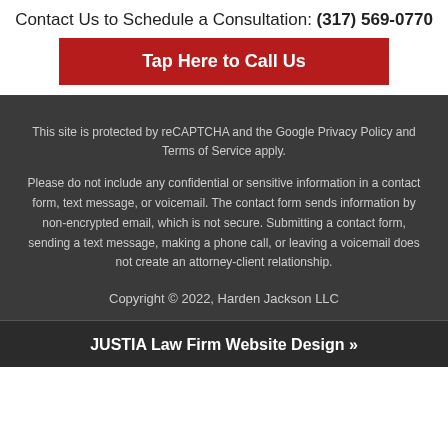Contact Us to Schedule a Consultation: (317) 569-0770
Tap Here to Call Us
This site is protected by reCAPTCHA and the Google Privacy Policy and Terms of Service apply.
Please do not include any confidential or sensitive information in a contact form, text message, or voicemail. The contact form sends information by non-encrypted email, which is not secure. Submitting a contact form, sending a text message, making a phone call, or leaving a voicemail does not create an attorney-client relationship.
Copyright © 2022, Harden Jackson LLC
JUSTIA Law Firm Website Design »